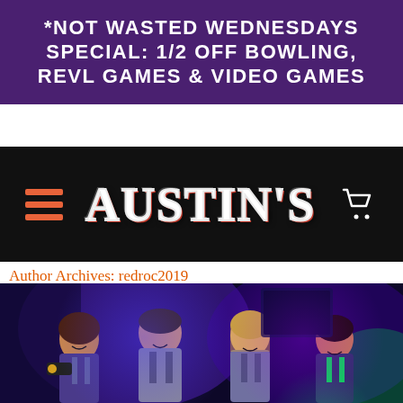*NOT WASTED WEDNESDAYS SPECIAL: 1/2 OFF BOWLING, REVL GAMES & VIDEO GAMES
[Figure (logo): Austin's entertainment venue logo with hamburger menu icon, orange/red outlined block-letter logo text, and shopping cart icon on black background]
Author Archives: redroc2019
[Figure (photo): Four young people posing together wearing laser tag vests in a dark neon-lit laser tag arena, smiling at the camera]